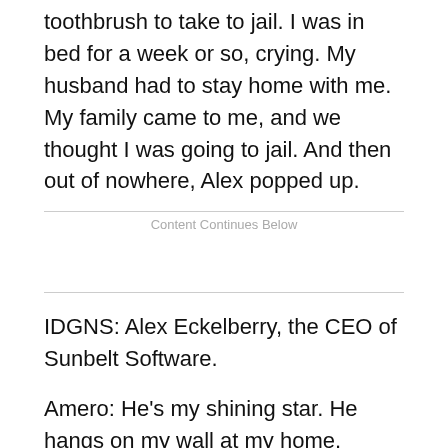toothbrush to take to jail. I was in bed for a week or so, crying. My husband had to stay home with me. My family came to me, and we thought I was going to jail. And then out of nowhere, Alex popped up.
Content Continues Below
IDGNS: Alex Eckelberry, the CEO of Sunbelt Software.
Amero: He's my shining star. He hangs on my wall at my home.
IDGNS: Does he really?
Amero: There's a picture of him there. My husband even blew it up.